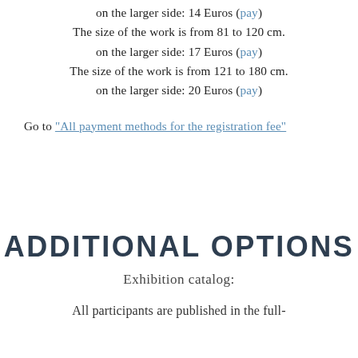on the larger side: 14 Euros (pay)
The size of the work is from 81 to 120 cm.
on the larger side: 17 Euros (pay)
The size of the work is from 121 to 180 cm.
on the larger side: 20 Euros (pay)
Go to "All payment methods for the registration fee"
ADDITIONAL OPTIONS
Exhibition catalog:
All participants are published in the full-